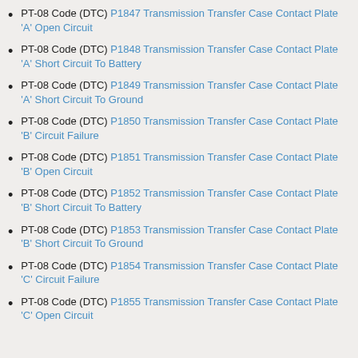PT-08 Code (DTC) P1847 Transmission Transfer Case Contact Plate 'A' Open Circuit
PT-08 Code (DTC) P1848 Transmission Transfer Case Contact Plate 'A' Short Circuit To Battery
PT-08 Code (DTC) P1849 Transmission Transfer Case Contact Plate 'A' Short Circuit To Ground
PT-08 Code (DTC) P1850 Transmission Transfer Case Contact Plate 'B' Circuit Failure
PT-08 Code (DTC) P1851 Transmission Transfer Case Contact Plate 'B' Open Circuit
PT-08 Code (DTC) P1852 Transmission Transfer Case Contact Plate 'B' Short Circuit To Battery
PT-08 Code (DTC) P1853 Transmission Transfer Case Contact Plate 'B' Short Circuit To Ground
PT-08 Code (DTC) P1854 Transmission Transfer Case Contact Plate 'C' Circuit Failure
PT-08 Code (DTC) P1855 Transmission Transfer Case Contact Plate 'C' Open Circuit